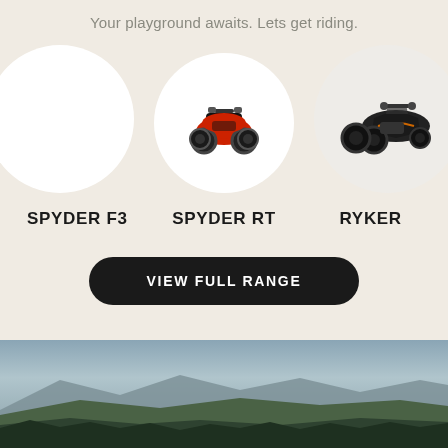Your playground awaits. Lets get riding.
[Figure (photo): Three circular product images showing Can-Am vehicles: left circle (partially cut off) showing Spyder F3, center circle showing red/black ATV Spyder RT, right circle (partially cut off) showing black Ryker three-wheel motorcycle]
SPYDER F3
SPYDER RT
RYKER
VIEW FULL RANGE
[Figure (photo): Landscape panoramic photo showing mountains, sky and green hills at the bottom of the page]